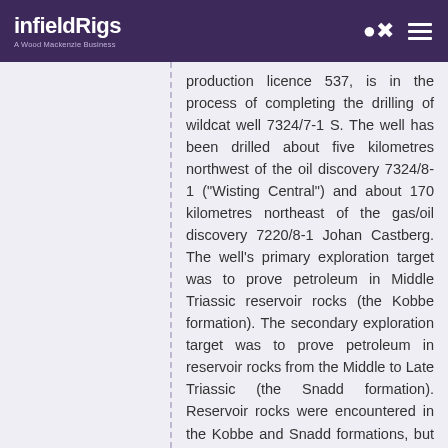infieldRigs — A Wood Mackenzie Business
production licence 537, is in the process of completing the drilling of wildcat well 7324/7-1 S. The well has been drilled about five kilometres northwest of the oil discovery 7324/8-1 ("Wisting Central") and about 170 kilometres northeast of the gas/oil discovery 7220/8-1 Johan Castberg. The well's primary exploration target was to prove petroleum in Middle Triassic reservoir rocks (the Kobbe formation). The secondary exploration target was to prove petroleum in reservoir rocks from the Middle to Late Triassic (the Snadd formation). Reservoir rocks were encountered in the Kobbe and Snadd formations, but with poorer than expected reservoir properties. The well was classified as dry, with traces of petroleum. Data acquisition and sampling have been carried out. This is the second exploration well in production licence 537. The production licence was awarded in the 20th licensing round in 2009. The well was drilled to a vertical